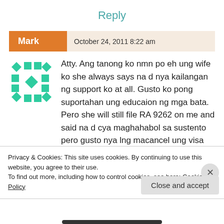Reply
Mark   October 24, 2011 8:22 am
Atty. Ang tanong ko nmn po eh ung wife ko she always says na d nya kailangan ng support ko at all. Gusto ko pong suportahan ung educaion ng mga bata. Pero she will still file RA 9262 on me and said na d cya maghahabol sa sustento pero gusto nya lng macancel ung visa ko. Nagsend po cya ng msg sa FB. Pwede po ba nyang gamitin ung RA 9262 on that
Privacy & Cookies: This site uses cookies. By continuing to use this website, you agree to their use.
To find out more, including how to control cookies, see here: Cookie Policy